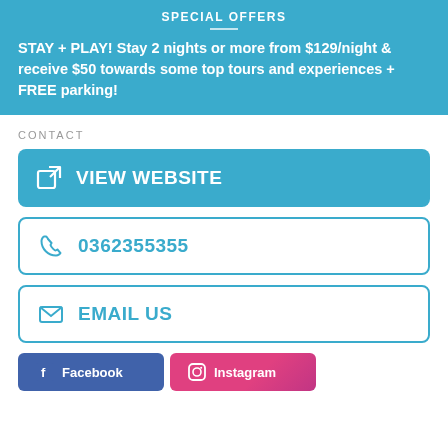SPECIAL OFFERS
STAY + PLAY! Stay 2 nights or more from $129/night & receive $50 towards some top tours and experiences + FREE parking!
CONTACT
VIEW WEBSITE
0362355355
EMAIL US
Facebook
Instagram